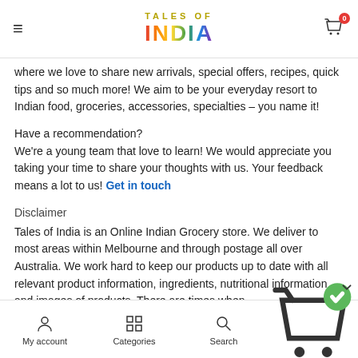TALES OF INDIA
where we love to share new arrivals, special offers, recipes, quick tips and so much more! We aim to be your everyday resort to Indian food, groceries, accessories, specialties – you name it!
Have a recommendation?
We're a young team that love to learn! We would appreciate you taking your time to share your thoughts with us. Your feedback means a lot to us! Get in touch
Disclaimer
Tales of India is an Online Indian Grocery store. We deliver to most areas within Melbourne and through postage all over Australia. We work hard to keep our products up to date with all relevant product information, ingredients, nutritional information and images of products. There are times when
My account  Categories  Search  Cart